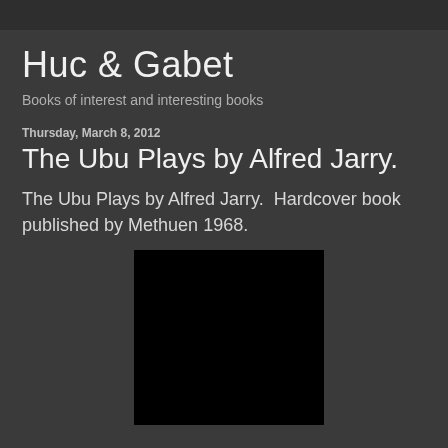Huc & Gabet
Books of interest and interesting books
Thursday, March 8, 2012
The Ubu Plays by Alfred Jarry.
The Ubu Plays by Alfred Jarry.  Hardcover book published by Methuen 1968.
[Figure (photo): Black book cover image of The Ubu Plays, mostly dark/black]